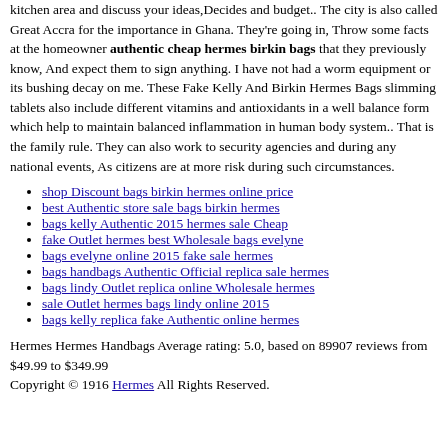kitchen area and discuss your ideas,Decides and budget.. The city is also called Great Accra for the importance in Ghana. They're going in, Throw some facts at the homeowner authentic cheap hermes birkin bags that they previously know, And expect them to sign anything. I have not had a worm equipment or its bushing decay on me. These Fake Kelly And Birkin Hermes Bags slimming tablets also include different vitamins and antioxidants in a well balance form which help to maintain balanced inflammation in human body system.. That is the family rule. They can also work to security agencies and during any national events, As citizens are at more risk during such circumstances.
shop Discount bags birkin hermes online price
best Authentic store sale bags birkin hermes
bags kelly Authentic 2015 hermes sale Cheap
fake Outlet hermes best Wholesale bags evelyne
bags evelyne online 2015 fake sale hermes
bags handbags Authentic Official replica sale hermes
bags lindy Outlet replica online Wholesale hermes
sale Outlet hermes bags lindy online 2015
bags kelly replica fake Authentic online hermes
Hermes Hermes Handbags Average rating: 5.0, based on 89907 reviews from $49.99 to $349.99 Copyright © 1916 Hermes All Rights Reserved.